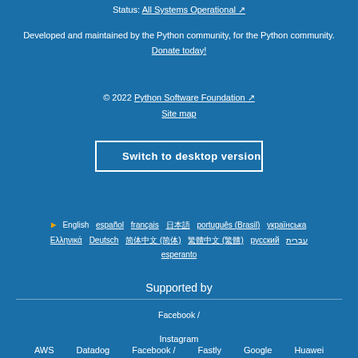Status: All Systems Operational ↗
Developed and maintained by the Python community, for the Python community.
Donate today!
© 2022 Python Software Foundation ↗
Site map
Switch to desktop version
▶ English   español   français   日本語   português (Brasil)   українська   Ελληνικά   Deutsch   简体中文 (Simplified)   繁體中文 (Traditional)   русский   עברית   esperanto
Supported by
Facebook / Instagram
AWS   Datadog   Facebook / Instagram   Fastly   Google   Huawei